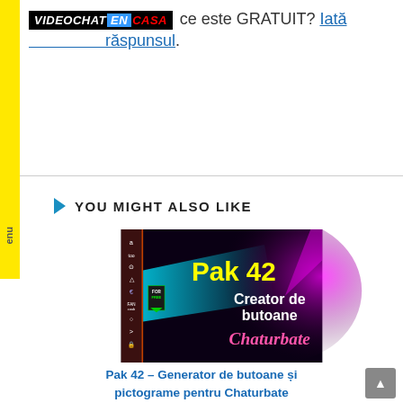VIDEOCHAT EN CASA ce este GRATUIT? Iată răspunsul.
YOU MIGHT ALSO LIKE
[Figure (screenshot): Thumbnail image for Pak 42 – Creator de butoane Chaturbate, showing colorful lights and text on dark background]
Pak 42 – Generator de butoane și pictograme pentru Chaturbate